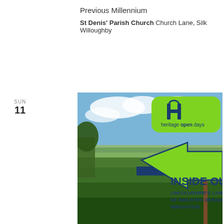Previous Millennium
St Denis' Parish Church Church Lane, Silk Willoughby
SUN 11
[Figure (illustration): Heritage Open Days promotional image showing a countryside landscape with a large green arrow sign pointing left overlaid with text 'INSIDE OUT: LINCOLNSHIRE'S LANDSCAPE OF INDUSTRY, DESIGN AND INNOVATION' and a Heritage Open Days logo in the top right corner.]